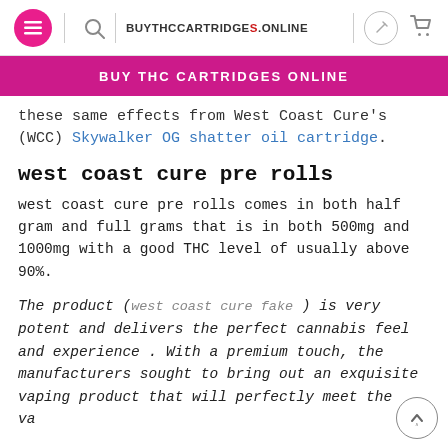BUYTHCCARTRIDGES.ONLINE
BUY THC CARTRIDGES ONLINE
these same effects from West Coast Cure's (WCC) Skywalker OG shatter oil cartridge.
west coast cure pre rolls
west coast cure pre rolls comes in both half gram and full grams that is in both 500mg and 1000mg with a good THC level of usually above 90%.
The product (west coast cure fake) is very potent and delivers the perfect cannabis feel and experience. With a premium touch, the manufacturers sought to bring out an exquisite vaping product that will perfectly meet the vaping desires of the consumers and bring them out their shell.